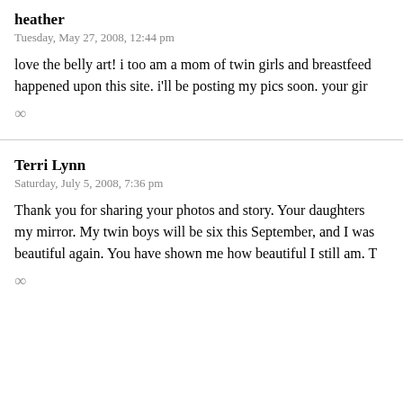heather
Tuesday, May 27, 2008, 12:44 pm
love the belly art! i too am a mom of twin girls and breastfeed... happened upon this site. i'll be posting my pics soon. your gir
∞
Terri Lynn
Saturday, July 5, 2008, 7:36 pm
Thank you for sharing your photos and story. Your daughters... my mirror. My twin boys will be six this September, and I was... beautiful again. You have shown me how beautiful I still am. T
∞